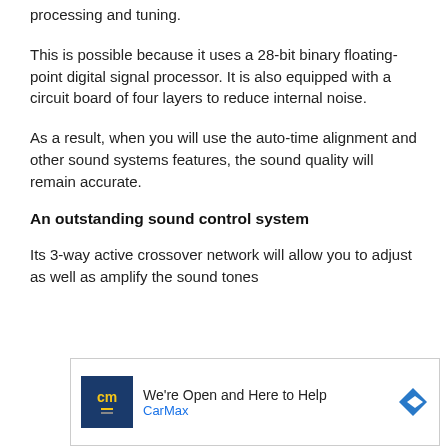processing and tuning.
This is possible because it uses a 28-bit binary floating-point digital signal processor. It is also equipped with a circuit board of four layers to reduce internal noise.
As a result, when you will use the auto-time alignment and other sound systems features, the sound quality will remain accurate.
An outstanding sound control system
Its 3-way active crossover network will allow you to adjust as well as amplify the sound tones
[Figure (other): CarMax advertisement banner: 'We're Open and Here to Help' with CarMax logo and navigation arrow icon]